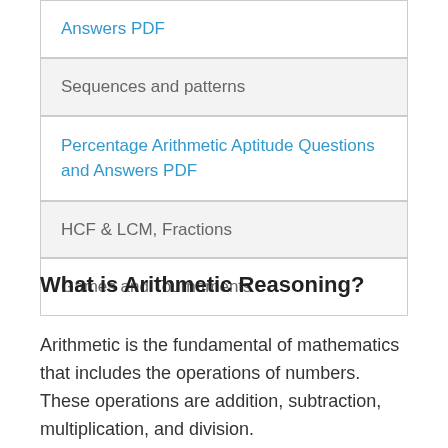| Answers PDF |
| Sequences and patterns |
| Percentage Arithmetic Aptitude Questions and Answers PDF |
| HCF & LCM, Fractions |
| Games and Tournaments |
What is Arithmetic Reasoning?
Arithmetic is the fundamental of mathematics that includes the operations of numbers. These operations are addition, subtraction, multiplication, and division.